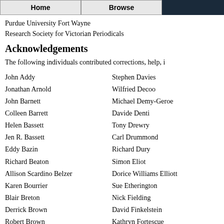Home  Browse
Purdue University Fort Wayne
Research Society for Victorian Periodicals
Acknowledgements
The following individuals contributed corrections, help, i
John Addy
Jonathan Arnold
John Barnett
Colleen Barrett
Helen Bassett
Jen R. Bassett
Eddy Bazin
Richard Beaton
Allison Scardino Belzer
Karen Bourrier
Blair Breton
Derrick Brown
Robert Brown
Stephen Davies
Wilfried Decoo
Michael Demy-Geroe
Davide Denti
Tony Drewry
Carl Drummond
Richard Dury
Simon Eliot
Dorice Williams Elliott
Sue Etherington
Nick Fielding
David Finkelstein
Kathryn Fortescue